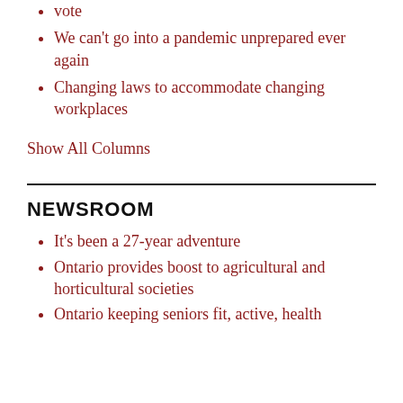vote
We can't go into a pandemic unprepared ever again
Changing laws to accommodate changing workplaces
Show All Columns
NEWSROOM
It's been a 27-year adventure
Ontario provides boost to agricultural and horticultural societies
Ontario keeping seniors fit, active, health…